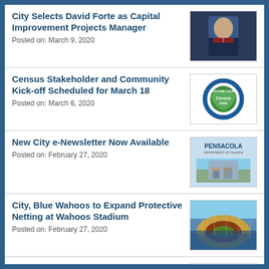City Selects David Forte as Capital Improvement Projects Manager
Posted on: March 9, 2020
[Figure (photo): Headshot photo of David Forte in a suit]
Census Stakeholder and Community Kick-off Scheduled for March 18
Posted on: March 6, 2020
[Figure (logo): Everyone Counts Census 2020 Columbia County circular logo]
New City e-Newsletter Now Available
Posted on: February 27, 2020
[Figure (photo): Pensacola city e-newsletter cover image with building]
City, Blue Wahoos to Expand Protective Netting at Wahoos Stadium
Posted on: February 27, 2020
[Figure (photo): Aerial view of Blue Wahoos Stadium baseball field with crowd]
Pensacola Blueway Community Proclamation Set for Feb. 24
Posted on: February 21, 2020
[Figure (illustration): Blueway community logo image placeholder]